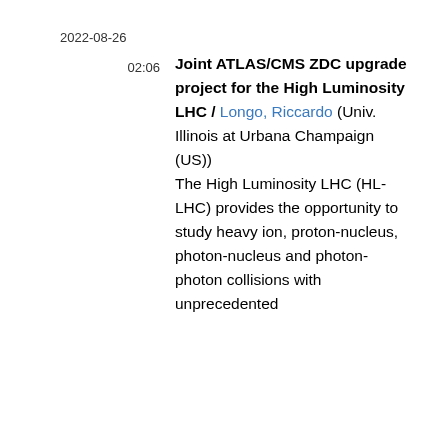2022-08-26
02:06
Joint ATLAS/CMS ZDC upgrade project for the High Luminosity LHC / Longo, Riccardo (Univ. Illinois at Urbana Champaign (US))
The High Luminosity LHC (HL-LHC) provides the opportunity to study heavy ion, proton-nucleus, photon-nucleus and photon-photon collisions with unprecedented